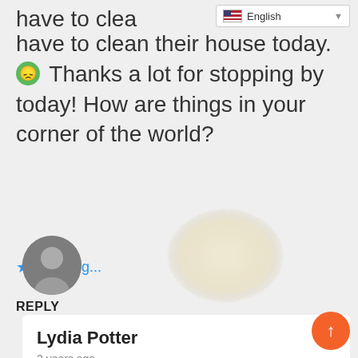[Figure (screenshot): Language selector dropdown showing English with flag icon]
have to clean their house today.
😞 Thanks a lot for stopping by today! How are things in your corner of the world?
★ Loading...
REPLY
[Figure (photo): Circular profile photo of a person in grayscale]
[Figure (photo): Fluffy white/cream decorative pom-pom or cotton ball element]
Lydia Potter
2 years ago